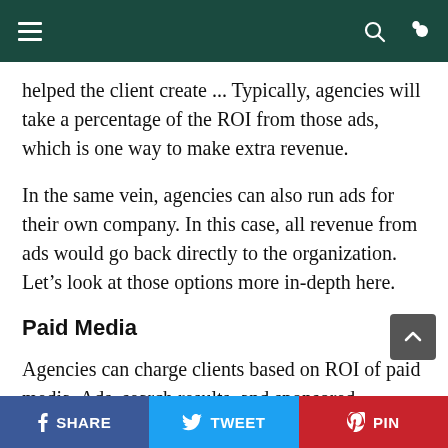Navigation bar with hamburger menu, search, and dark mode icons
helped the client create ... Typically, agencies will take a percentage of the ROI from those ads, which is one way to make extra revenue.
In the same vein, agencies can also run ads for their own company. In this case, all revenue from ads would go back directly to the organization. Let's look at those options more in-depth here.
Paid Media
Agencies can charge clients based on ROI of paid media. Ads, search results, and sponsored
SHARE  TWEET  PIN